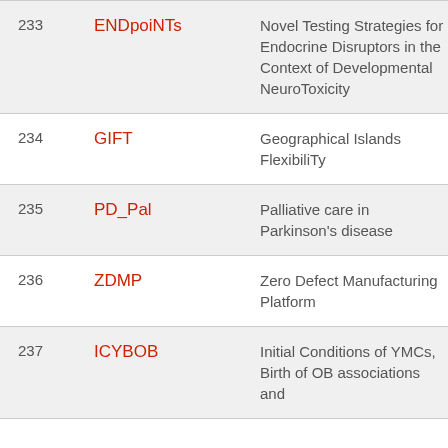| # | Acronym | Full Title |
| --- | --- | --- |
| 233 | ENDpoiNTs | Novel Testing Strategies for Endocrine Disruptors in the Context of Developmental NeuroToxicity |
| 234 | GIFT | Geographical Islands FlexibiliTy |
| 235 | PD_Pal | Palliative care in Parkinson's disease |
| 236 | ZDMP | Zero Defect Manufacturing Platform |
| 237 | ICYBOB | Initial Conditions of YMCs, Birth of OB associations and |